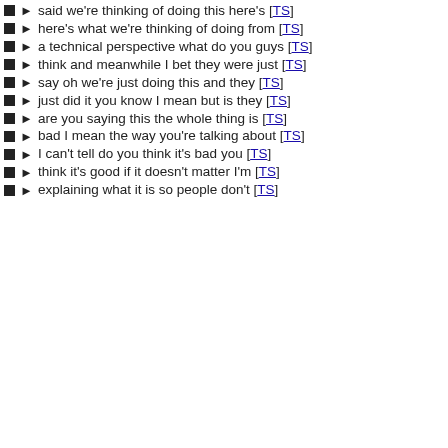said we're thinking of doing this here's [TS]
here's what we're thinking of doing from [TS]
a technical perspective what do you guys [TS]
think and meanwhile I bet they were just [TS]
say oh we're just doing this and they [TS]
just did it you know I mean but is they [TS]
are you saying this the whole thing is [TS]
bad I mean the way you're talking about [TS]
I can't tell do you think it's bad you [TS]
think it's good if it doesn't matter I'm [TS]
explaining what it is so people don't [TS]